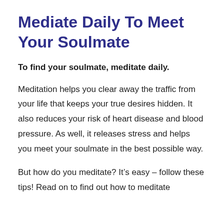Mediate Daily To Meet Your Soulmate
To find your soulmate, meditate daily.
Meditation helps you clear away the traffic from your life that keeps your true desires hidden. It also reduces your risk of heart disease and blood pressure. As well, it releases stress and helps you meet your soulmate in the best possible way.
But how do you meditate? It’s easy – follow these tips! Read on to find out how to meditate